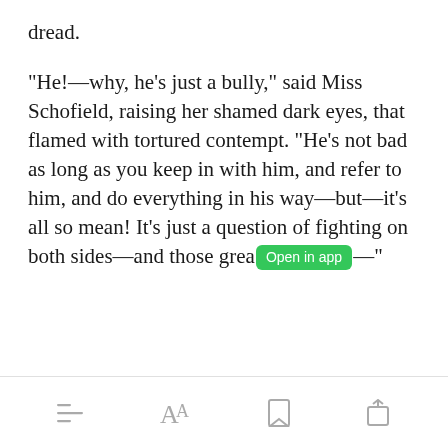dread.
"He!—why, he's just a bully," said Miss Schofield, raising her shamed dark eyes, that flamed with tortured contempt. "He's not bad as long as you keep in with him, and refer to him, and do everything in his way—but—it's all so mean! It's just a question of fighting on both sides—and those grea[Open in app]—"
Open in app